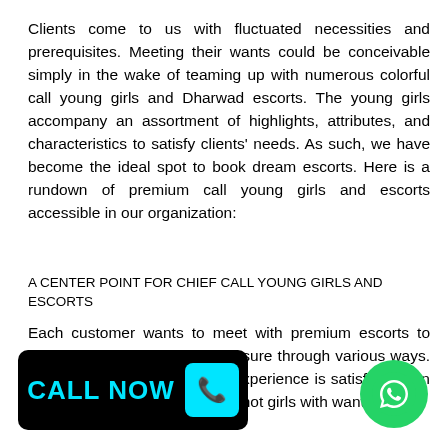Clients come to us with fluctuated necessities and prerequisites. Meeting their wants could be conceivable simply in the wake of teaming up with numerous colorful call young girls and Dharwad escorts. The young girls accompany an assortment of highlights, attributes, and characteristics to satisfy clients' needs. As such, we have become the ideal spot to book dream escorts. Here is a rundown of premium call young girls and escorts accessible in our organization:
A CENTER POINT FOR CHIEF CALL YOUNG GIRLS AND ESCORTS
Each customer wants to meet with premium escorts to acquire the most elevated pleasure through various ways. The point of giving a fulfilling experience is satisfied when you can discover lovely and hot girls with wanted
[Figure (other): CALL NOW button with phone icon, black background with cyan text and icon]
[Figure (other): WhatsApp green circle button with white WhatsApp logo]